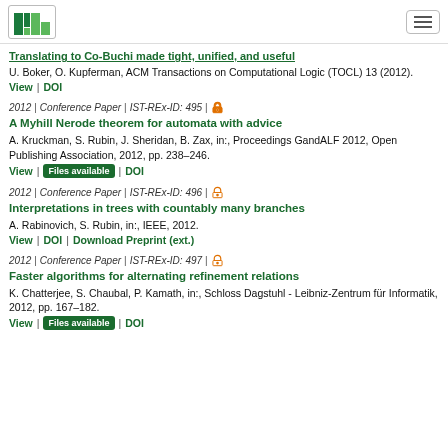ISTA
Translating to Co-Buchi made tight, unified, and useful
U. Boker, O. Kupferman, ACM Transactions on Computational Logic (TOCL) 13 (2012).
View | DOI
2012 | Conference Paper | IST-REx-ID: 495 |
A Myhill Nerode theorem for automata with advice
A. Kruckman, S. Rubin, J. Sheridan, B. Zax, in:, Proceedings GandALF 2012, Open Publishing Association, 2012, pp. 238–246.
View | Files available | DOI
2012 | Conference Paper | IST-REx-ID: 496 |
Interpretations in trees with countably many branches
A. Rabinovich, S. Rubin, in:, IEEE, 2012.
View | DOI | Download Preprint (ext.)
2012 | Conference Paper | IST-REx-ID: 497 |
Faster algorithms for alternating refinement relations
K. Chatterjee, S. Chaubal, P. Kamath, in:, Schloss Dagstuhl - Leibniz-Zentrum für Informatik, 2012, pp. 167–182.
View | Files available | DOI